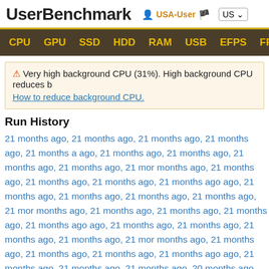UserBenchmark  USA-User  US
CPU  GPU  SSD  HDD  RAM  USB  EFPS  FPS  Sk
⚠ Very high background CPU (31%). High background CPU reduces b How to reduce background CPU.
Run History
21 months ago, 21 months ago, 21 months ago, 21 months ago, 21 months ago, 21 months ago, 21 months ago, 21 months ago, 21 months ago, 21 months ago, 21 months ago, 21 months ago, 21 months ago, 21 months ago, 21 months ago, 21 months ago, 21 months ago, 21 months ago, 21 months ago, 21 months ago, 21 months ago, 21 months ago, 21 months ago, 21 months ago, 21 months ago, 21 months ago, 21 months ago, 21 months ago, 21 months ago, 21 months ago, 21 months ago, 20 months ago, 20 months ago, 20 months ago, 20 months ago, 20 months ago, 20 months ago, 20 months ago, 20 months ago, 20 months ago, 20 months ago, 20 months ago, 20 months ago, 20 months ago, 20 months ago, 20 months ago, 20 months ago, 20 months ago, 20 months ago, 20 months ago, 20 months ago, 20 months ago, 20 months ago, 20 months ago, 20 months ago, 20 months ago, 20 months ago, 20 months ago, 20 months ago, 20 months ago, 20 months ago, 20 months ago, 20 months ago, 20 months ago, 20 months ago, 20 months ago, 20 months ago, 20 months ago, 20 months ago, 20 months ago, 20 months ago, 20 months ago, 20 months ago, 20 months ago, 20 months ago, 20 months ago